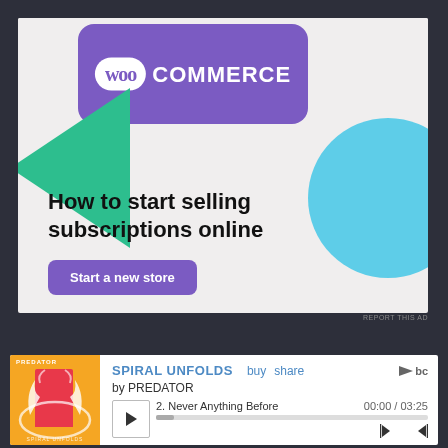[Figure (screenshot): WooCommerce advertisement banner with purple logo, green triangle shape, light blue circle, and text 'How to start selling subscriptions online' with a 'Start a new store' button]
REPORT THIS AD
[Figure (screenshot): Bandcamp music player showing 'SPIRAL UNFOLDS' by PREDATOR. Album art shows a door on orange background. Track 2: Never Anything Before, 00:00 / 03:25. Playback controls visible.]